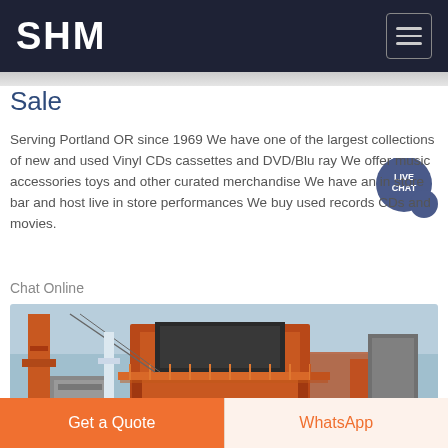SHM
Sale
Serving Portland OR since 1969 We have one of the largest collections of new and used Vinyl CDs cassettes and DVD/Blu ray We offer music accessories toys and other curated merchandise We have an in store bar and host live in store performances We buy used records CDs and movies.
Chat Online
[Figure (photo): Industrial machinery/equipment photo showing orange metallic structures, scaffolding, and industrial building against a blue sky]
Get a Quote
WhatsApp